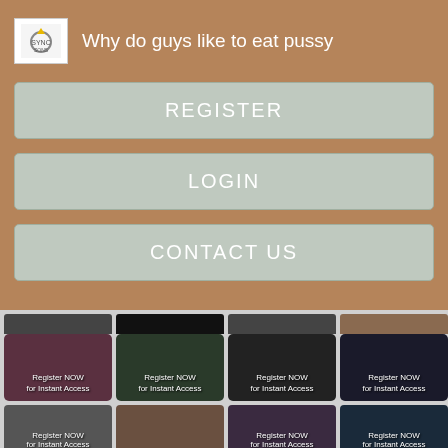Why do guys like to eat pussy
REGISTER
LOGIN
CONTACT US
[Figure (screenshot): Grid of thumbnail images each labeled Register NOW for Instant Access]
Register NOW for Instant Access
Register NOW for Instant Access
Register NOW for Instant Access
Register NOW for Instant Access
Register NOW for Instant Access
Register NOW for Instant Access
Register NOW for Instant Access